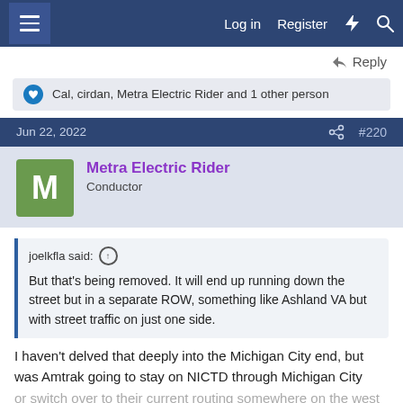Log in  Register
Reply
Cal, cirdan, Metra Electric Rider and 1 other person
Jun 22, 2022  #220
Metra Electric Rider
Conductor
joelkfla said: ↑
But that's being removed. It will end up running down the street but in a separate ROW, something like Ashland VA but with street traffic on just one side.
I haven't delved that deeply into the Michigan City end, but was Amtrak going to stay on NICTD through Michigan City or switch over to their current routing somewhere on the west side or downtown? I guess if they route the LSL et al via NICTD they will run on that…